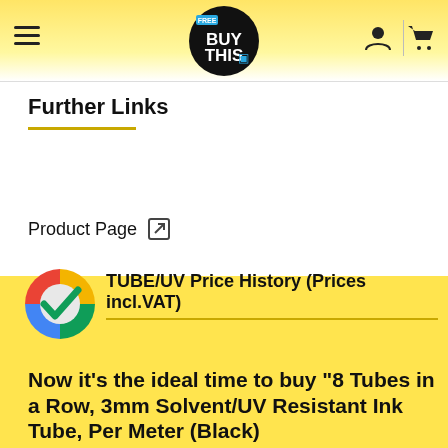BUY THIS (FreeTrial logo, hamburger menu, user icon, cart icon)
Further Links
Product Page [external link icon]
[Figure (logo): Google colored checkmark circle icon overlapping with section header area]
TUBE/UV Price History (Prices incl.VAT)
Now it's the ideal time to buy "8 Tubes in a Row, 3mm Solvent/UV Resistant Ink Tube, Per Meter (Black)"